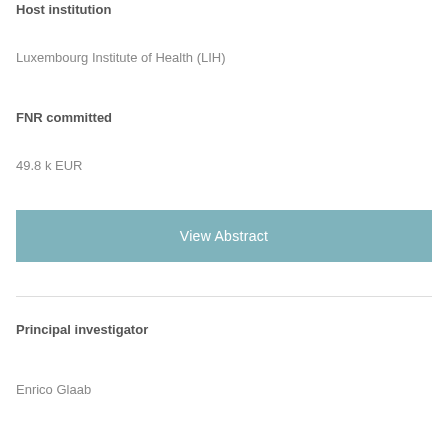Host institution
Luxembourg Institute of Health (LIH)
FNR committed
49.8 k EUR
View Abstract
Principal investigator
Enrico Glaab